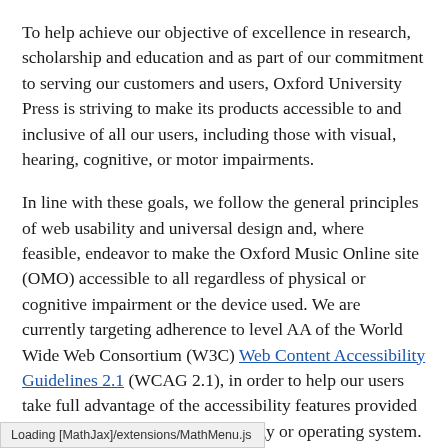To help achieve our objective of excellence in research, scholarship and education and as part of our commitment to serving our customers and users, Oxford University Press is striving to make its products accessible to and inclusive of all our users, including those with visual, hearing, cognitive, or motor impairments.
In line with these goals, we follow the general principles of web usability and universal design and, where feasible, endeavor to make the Oxford Music Online site (OMO) accessible to all regardless of physical or cognitive impairment or the device used. We are currently targeting adherence to level AA of the World Wide Web Consortium (W3C) Web Content Accessibility Guidelines 2.1 (WCAG 2.1), in order to help our users take full advantage of the accessibility features provided by their chosen assistive technology or operating system.
Loading [MathJax]/extensions/MathMenu.js